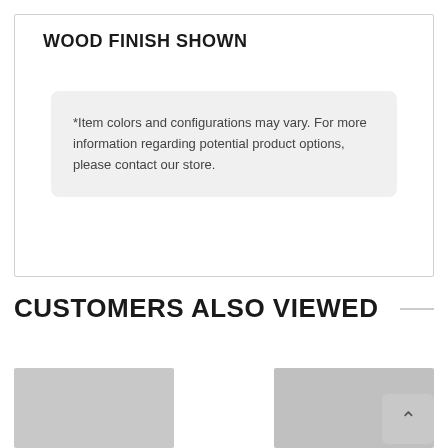WOOD FINISH SHOWN
*Item colors and configurations may vary. For more information regarding potential product options, please contact our store.
CUSTOMERS ALSO VIEWED
[Figure (photo): Two product thumbnail images (pillows/cushions in gray) shown at the bottom of the page]
[Figure (other): Back to top button with upward arrow]